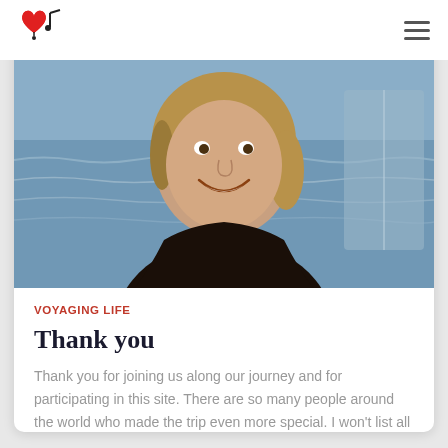[Figure (logo): Red heart with music note logo in top-left of navigation bar]
[Figure (photo): A smiling woman outdoors near water, wearing a dark jacket, with ocean waves visible in the background]
VOYAGING LIFE
Thank you
Thank you for joining us along our journey and for participating in this site.  There are so many people around the world who made the trip even more special.  I won't list all the names,
Read more...